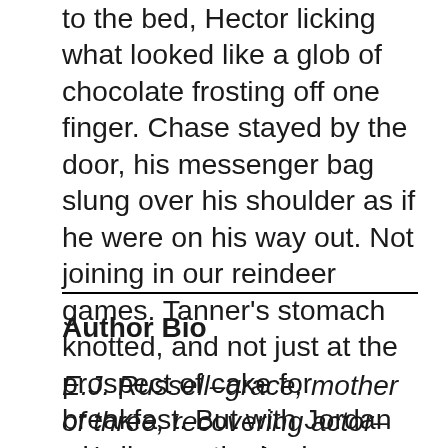to the bed, Hector licking what looked like a glob of chocolate frosting off one finger. Chase stayed by the door, his messenger bag slung over his shoulder as if he were on his way out. Not joining in our reindeer games. Tanner's stomach knotted, and not just at the prospect of cake for breakfast. But with Jordan wiggling on the bed, causing it to bounce, eager brown eyes on Tanner's face, Tanner tried to at least pretend at some enthusiasm.
Author Bio
E.J. Russell–grace, mother of three, recovering actor–writes romance in a